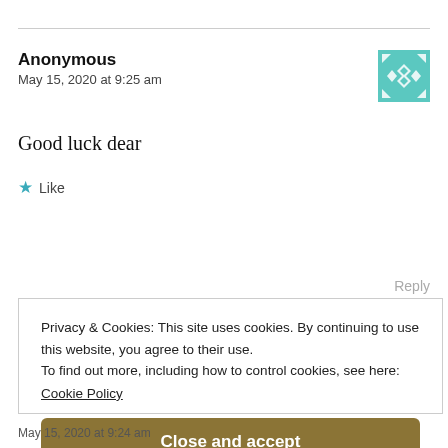Anonymous
May 15, 2020 at 9:25 am
Good luck dear
★ Like
Reply
Privacy & Cookies: This site uses cookies. By continuing to use this website, you agree to their use.
To find out more, including how to control cookies, see here:
Cookie Policy
Close and accept
May 15, 2020 at 9:24 am